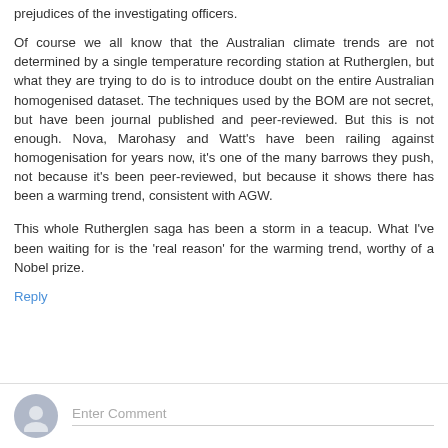prejudices of the investigating officers.
Of course we all know that the Australian climate trends are not determined by a single temperature recording station at Rutherglen, but what they are trying to do is to introduce doubt on the entire Australian homogenised dataset. The techniques used by the BOM are not secret, but have been journal published and peer-reviewed. But this is not enough. Nova, Marohasy and Watt's have been railing against homogenisation for years now, it's one of the many barrows they push, not because it's been peer-reviewed, but because it shows there has been a warming trend, consistent with AGW.
This whole Rutherglen saga has been a storm in a teacup. What I've been waiting for is the 'real reason' for the warming trend, worthy of a Nobel prize.
Reply
Enter Comment